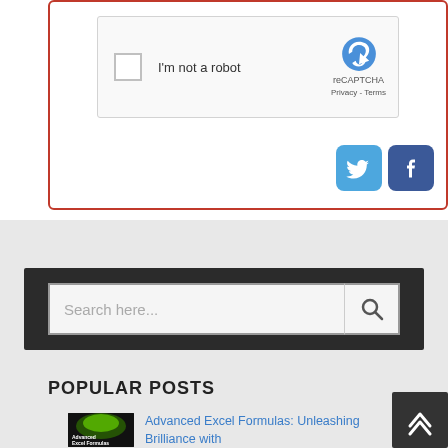[Figure (screenshot): reCAPTCHA widget with checkbox labeled 'I'm not a robot' inside a bordered form container]
[Figure (screenshot): Twitter and Facebook social media icon buttons (blue rounded square icons)]
[Figure (screenshot): Search bar with placeholder text 'Search here...' and a magnifying glass button on a dark background]
POPULAR POSTS
[Figure (photo): Book cover thumbnail for 'Advanced Excel Formulas' with dark background and green glowing design]
Advanced Excel Formulas: Unleashing Brilliance with